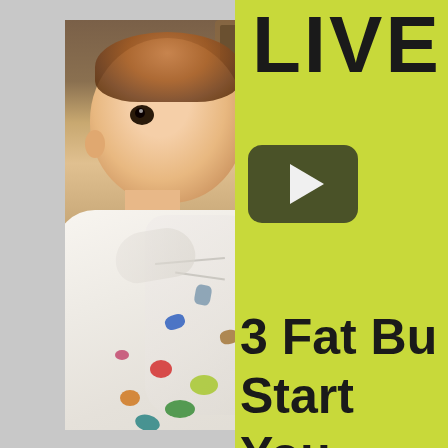[Figure (screenshot): Screenshot of a video thumbnail. Left half shows a baby/infant with brown hair wearing a white outfit with colorful animal/character prints, sitting indoors with wood furniture background. Right half shows a bright yellow-green panel with the text 'LIVE' in large black brush-stroke font, a YouTube-style dark rounded play button, and large black text reading '3 Fat Bu... Start You... E...' (text is cropped at the right edge).]
LIVE
3 Fat Bu... Start You... E...